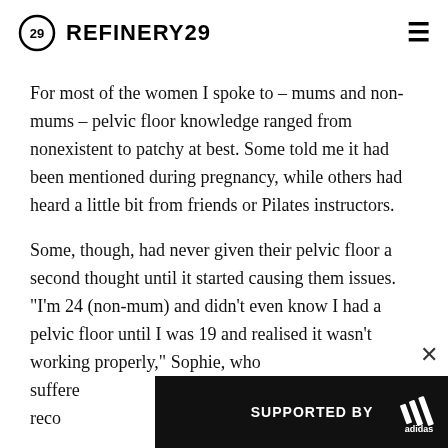REFINERY29
For most of the women I spoke to – mums and non-mums – pelvic floor knowledge ranged from nonexistent to patchy at best. Some told me it had been mentioned during pregnancy, while others had heard a little bit from friends or Pilates instructors.
Some, though, had never given their pelvic floor a second thought until it started causing them issues. "I'm 24 (non-mum) and didn't even know I had a pelvic floor until I was 19 and realised it wasn't working properly," Sophie, who suffered part of recovery, was learning to control my pelvic floor, but I
[Figure (other): Advertisement banner: SUPPORTED BY adidas logo with athlete photo]